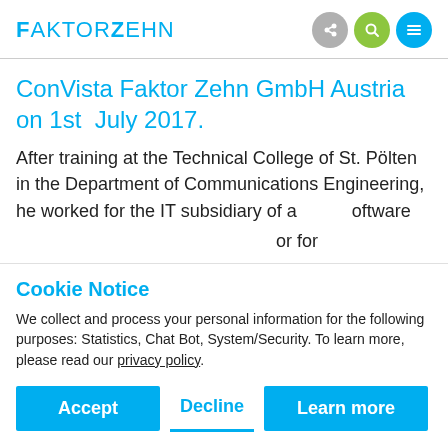FaktorZehn
ConVista Faktor Zehn GmbH Austria on 1st July 2017.
After training at the Technical College of St. Pölten in the Department of Communications Engineering, he worked for the IT subsidiary of a [software] [or for] [moved] [set up] [oment]
Cookie Notice
We collect and process your personal information for the following purposes: Statistics, Chat Bot, System/Security. To learn more, please read our privacy policy.
Accept
Decline
Learn more